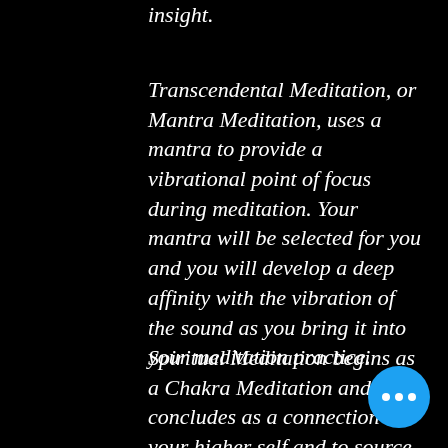insight.
Transcendental Meditation, or Mantra Meditation, uses a mantra to provide a vibrational point of focus during meditation. Your mantra will be selected for you and you will develop a deep affinity with the vibration of the sound as you bring it into your meditation practice.
Spiritual Meditation begins as a Chakra Meditation and concludes as a connection your higher self and to source